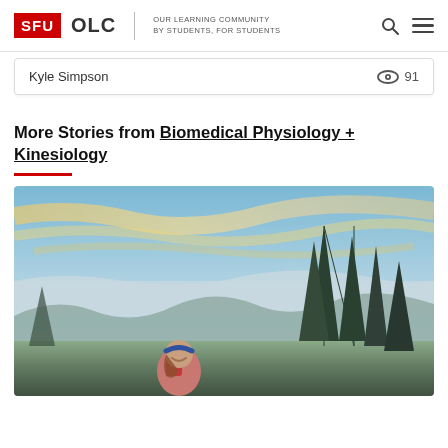SFU OLC | OUR LEARNING COMMUNITY BY STUDENTS, FOR STUDENTS
Kyle Simpson   👁 91
More Stories from Biomedical Physiology + Kinesiology
[Figure (photo): A smiling young woman with a red backpack and blue headband standing on a mountain or hilltop, with a scenic view of clouds below, evergreen trees, and a dramatic sky with clouds lit by golden light in the background.]